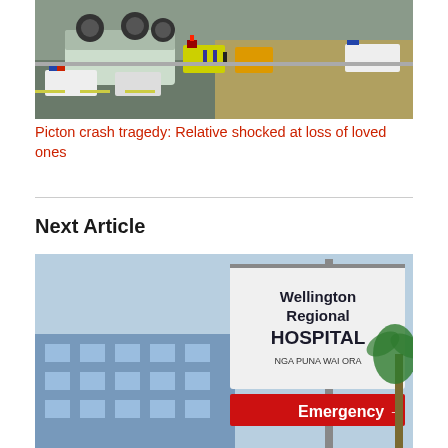[Figure (photo): Accident scene on a motorway with an overturned truck, emergency vehicles (fire trucks, police cars, ambulances) and personnel responding to a crash. Dry grassland visible in the background.]
Picton crash tragedy: Relative shocked at loss of loved ones
Next Article
[Figure (photo): Wellington Regional Hospital sign with NGA PUNA WAI ORA and Emergency arrow, with hospital building and palm tree visible in background against a blue sky.]